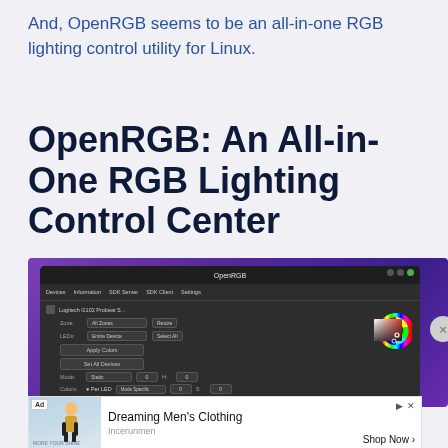And, OpenRGB seems to be an all-in-one RGB lighting control utility for Linux.
OpenRGB: An All-in-One RGB Lighting Control Center
[Figure (screenshot): Screenshot of the OpenRGB application window showing device controls, color wheel, and settings. An advertisement banner is partially visible at the bottom showing 'Dreaming Men's Clothing' by Incerunmen with a Shop Now button.]